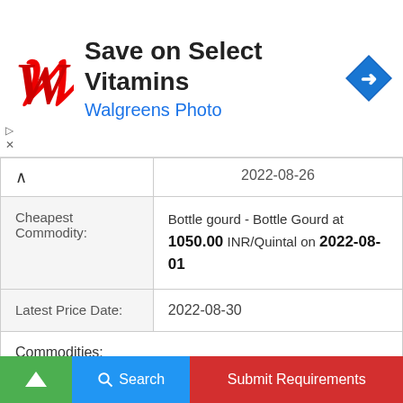[Figure (screenshot): Walgreens advertisement banner with logo, 'Save on Select Vitamins' text and navigation arrow icon]
|  |  |
| --- | --- |
|  | 2022-08-26 |
| Cheapest Commodity: | Bottle gourd - Bottle Gourd at 1050.00 INR/Quintal on 2022-08-01 |
| Latest Price Date: | 2022-08-30 |
| Commodities: | Mousambi(Sweet Lime), Onion, Black Gram Dal (Urd Dal), Lentil (Masur)(Whole), Apple, Banana - Green, Mustard, Garlic, Peas(Dry), Bengal Gram(Gram)(Whole), Masur Dal, Wheat, r Dal( ..., ger(Gr... |